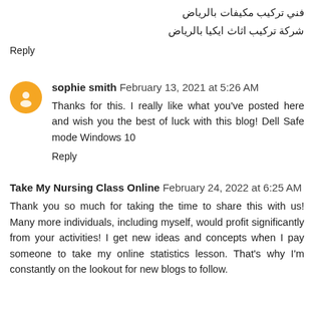فني تركيب مكيفات بالرياض
شركة تركيب اثاث ايكيا بالرياض
Reply
sophie smith  February 13, 2021 at 5:26 AM
Thanks for this. I really like what you've posted here and wish you the best of luck with this blog! Dell Safe mode Windows 10
Reply
Take My Nursing Class Online  February 24, 2022 at 6:25 AM
Thank you so much for taking the time to share this with us! Many more individuals, including myself, would profit significantly from your activities! I get new ideas and concepts when I pay someone to take my online statistics lesson. That's why I'm constantly on the lookout for new blogs to follow.